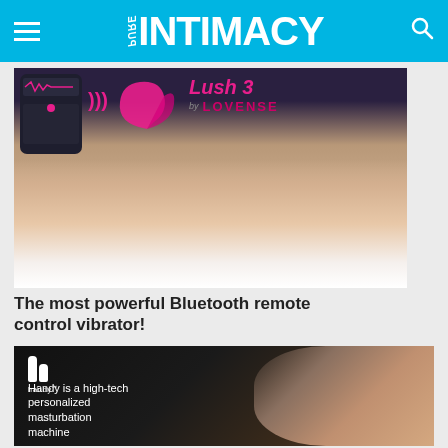PURE INTIMACY
[Figure (photo): Advertisement for Lush 3 by Lovense — pink Bluetooth vibrator product photo with app interface and person on bed. Text: Lush 3 by LOVENSE]
The most powerful Bluetooth remote control vibrator!
[Figure (photo): Advertisement for Handy — high-tech personalized masturbation machine product photo with device on dark background. Text: Handy is a high-tech personalized masturbation machine]